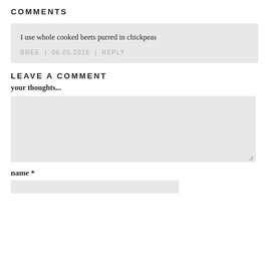COMMENTS
I use whole cooked beets purred in chickpeas
BREE | 06.05.2018 | REPLY
LEAVE A COMMENT
your thoughts...
name *